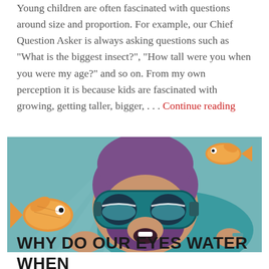Young children are often fascinated with questions around size and proportion. For example, our Chief Question Asker is always asking questions such as "What is the biggest insect?", "How tall were you when you were my age?" and so on. From my own perception it is because kids are fascinated with growing, getting taller, bigger, . . . Continue reading
[Figure (illustration): Cartoon illustration of a bearded man wearing diving goggles and a purple wetsuit underwater, surrounded by orange goldfish. The background is teal/blue with light rays and bubbles.]
WHY DO OUR EYES WATER WHEN